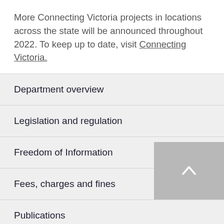More Connecting Victoria projects in locations across the state will be announced throughout 2022. To keep up to date, visit Connecting Victoria.
Department overview
Legislation and regulation
Freedom of Information
Fees, charges and fines
Publications